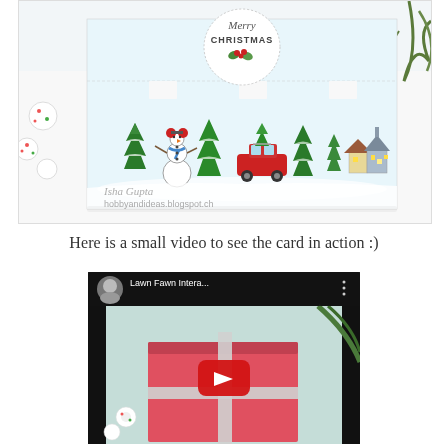[Figure (photo): A crafted interactive Christmas card (Lawn Fawn style) showing a pop-up scene with snowman, Christmas trees, a red car with tree on top, and village buildings. White ornament balls visible on left. 'Merry Christmas' text in circle at top of card. Watermark reads 'Isha Gupta' and 'hobbyandideas.blogspot.ch' in bottom left.]
Here is a small video to see the card in action :)
[Figure (screenshot): YouTube video thumbnail showing 'Lawn Fawn Intera...' with channel avatar, three-dot menu icon, red play button in center, and a Christmas gift box scene in background.]